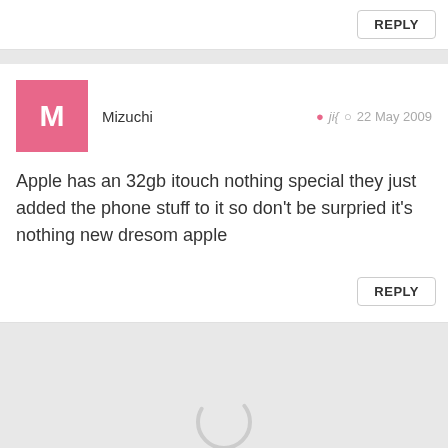REPLY
Mizuchi   ji{   22 May 2009
Apple has an 32gb itouch nothing special they just added the phone stuff to it so don't be surpried it's nothing new dresom apple
REPLY